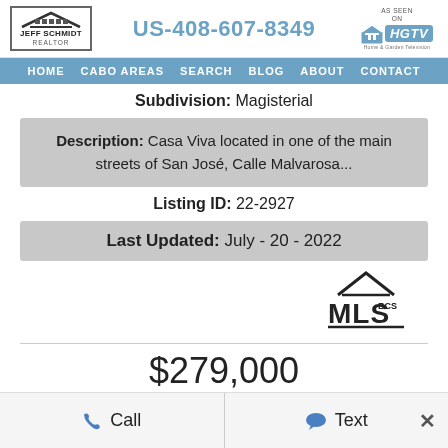Jeff Schmidt Realtor | US-408-607-8349 | AS SEEN ON HGTV
HOME  CABO AREAS  SEARCH  BLOG  ABOUT  CONTACT
Subdivision: Magisterial
Description: Casa Viva located in one of the main streets of San José, Calle Malvarosa...
Listing ID: 22-2927
Last Updated: July - 20 - 2022
[Figure (logo): MLS BCS logo with roof icon]
$279,000
Call  Text  ×